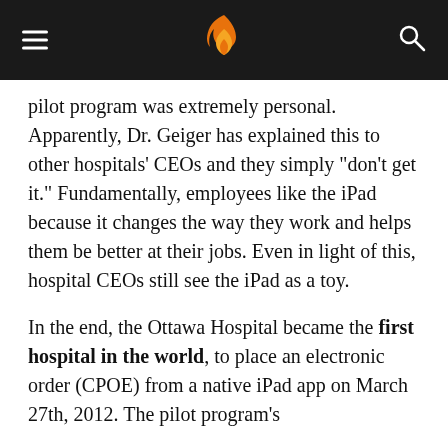m (logo)
pilot program was extremely personal. Apparently, Dr. Geiger has explained this to other hospitals’ CEOs and they simply “don’t get it.” Fundamentally, employees like the iPad because it changes the way they work and helps them be better at their jobs. Even in light of this, hospital CEOs still see the iPad as a toy.
In the end, the Ottawa Hospital became the first hospital in the world, to place an electronic order (CPOE) from a native iPad app on March 27th, 2012. The pilot program’s